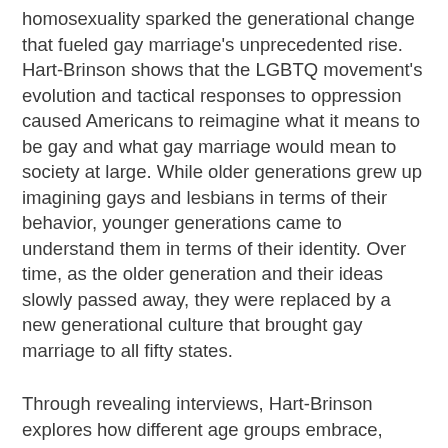homosexuality sparked the generational change that fueled gay marriage's unprecedented rise. Hart-Brinson shows that the LGBTQ movement's evolution and tactical responses to oppression caused Americans to reimagine what it means to be gay and what gay marriage would mean to society at large. While older generations grew up imagining gays and lesbians in terms of their behavior, younger generations came to understand them in terms of their identity. Over time, as the older generation and their ideas slowly passed away, they were replaced by a new generational culture that brought gay marriage to all fifty states.
Through revealing interviews, Hart-Brinson explores how different age groups embrace, resist, and create society's changing ideas about gay marriage. Religion, race, contact with gay people, and the power of love are all topics that weave in and out of these fascinating accounts, sometimes influencing opinions in surprising